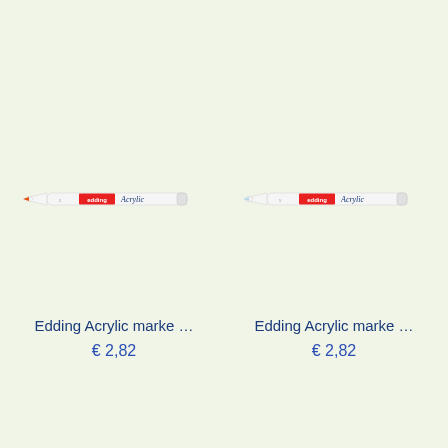[Figure (photo): Edding Acrylic marker pen with orange tip and red edding brand label, shown horizontally]
Edding Acrylic marke …
€ 2,82
[Figure (photo): Edding Acrylic marker pen with light blue/white tip and red edding brand label, shown horizontally]
Edding Acrylic marke …
€ 2,82